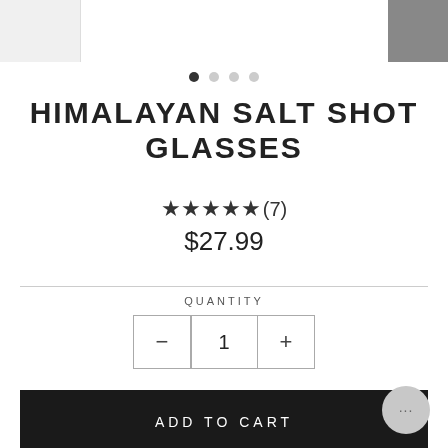[Figure (screenshot): Top image strip showing partial product images on left and right edges with carousel dot indicators]
HIMALAYAN SALT SHOT GLASSES
★★★★★(7)
$27.99
QUANTITY
- 1 +
ADD TO CART
Himalayan salt is a uniquely complex salt variety mined in northern Himalayan foothills known as the Salt R...